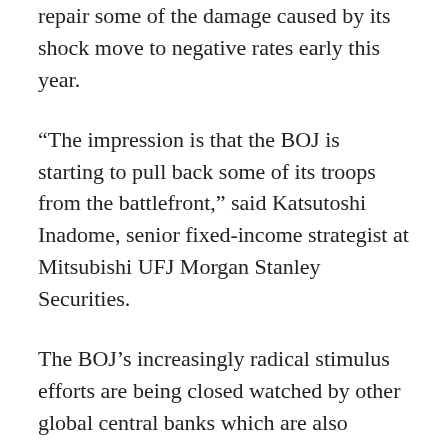repair some of the damage caused by its shock move to negative rates early this year.
“The impression is that the BOJ is starting to pull back some of its troops from the battlefront,” said Katsutoshi Inadome, senior fixed-income strategist at Mitsubishi UFJ Morgan Stanley Securities.
The BOJ’s increasingly radical stimulus efforts are being closed watched by other global central banks which are also struggling to revive growth, such as the European Central Bank. Many investors fear central banks have nearly exhausted the limits of what monetary policy can do, putting pressure back on governments to step up spending.